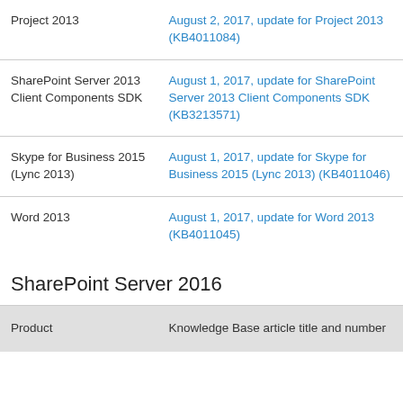| Product | Knowledge Base article title and number |
| --- | --- |
| Project 2013 (partial/top) | August 2, 2017, update for Project 2013 (KB4011084) |
| SharePoint Server 2013 Client Components SDK | August 1, 2017, update for SharePoint Server 2013 Client Components SDK (KB3213571) |
| Skype for Business 2015 (Lync 2013) | August 1, 2017, update for Skype for Business 2015 (Lync 2013) (KB4011046) |
| Word 2013 | August 1, 2017, update for Word 2013 (KB4011045) |
SharePoint Server 2016
| Product | Knowledge Base article title and number |
| --- | --- |